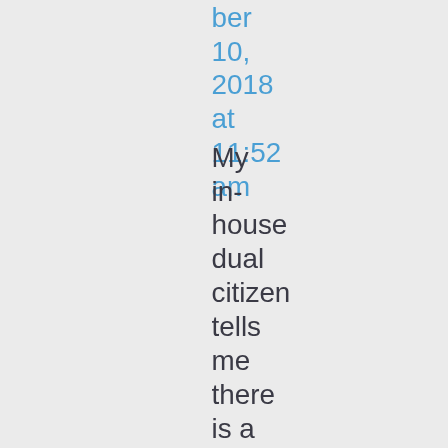ber 10, 2018 at 11:52 am
My in-house dual citizen tells me there is a brand whose name